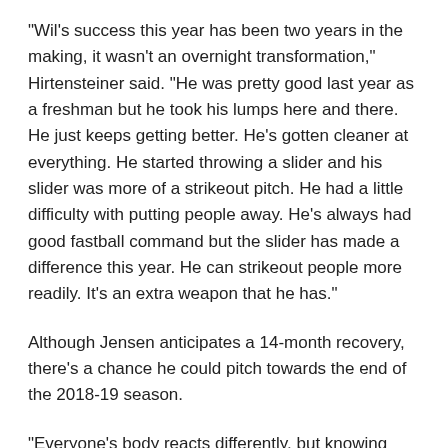"Wil's success this year has been two years in the making, it wasn't an overnight transformation," Hirtensteiner said. "He was pretty good last year as a freshman but he took his lumps here and there. He just keeps getting better. He's gotten cleaner at everything. He started throwing a slider and his slider was more of a strikeout pitch. He had a little difficulty with putting people away. He's always had good fastball command but the slider has made a difference this year. He can strikeout people more readily. It's an extra weapon that he has."
Although Jensen anticipates a 14-month recovery, there's a chance he could pitch towards the end of the 2018-19 season.
"Everyone's body reacts differently, but knowing how hard